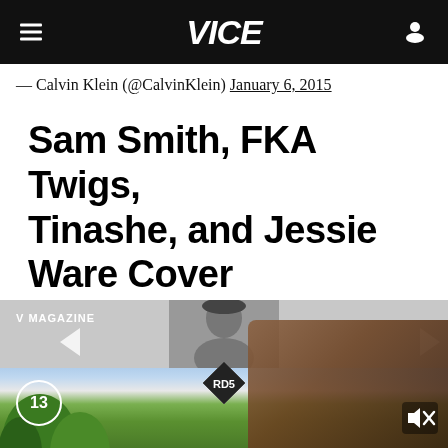VICE
— Calvin Klein (@CalvinKlein) January 6, 2015
Sam Smith, FKA Twigs, Tinashe, and Jessie Ware Cover V Magazine
[Figure (photo): V Magazine slideshow embed with a person in the upper strip and a landscape/outdoor blurred scene below, with a hand holding a phone in the foreground. Overlays include a '13' circle badge, an 'RD5' diamond badge, and a mute icon.]